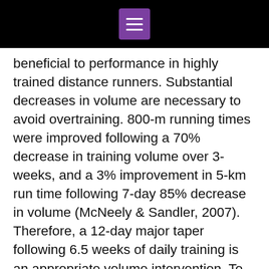beneficial to performance in highly trained distance runners. Substantial decreases in volume are necessary to avoid overtraining. 800-m running times were improved following a 70% decrease in training volume over 3-weeks, and a 3% improvement in 5-km run time following 7-day 85% decrease in volume (McNeely & Sandler, 2007). Therefore, a 12-day major taper following 6.5 weeks of daily training is an appropriate volume intervention. To avoid the "loss of feel" in athletes, no more than a 20% reduction of training frequency should incorporated following 6-weeks of training (approximately 1.5-2 days). A reciprocal relationship between volume and intensity has shown to be most beneficial during